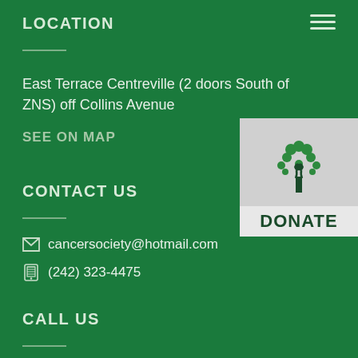LOCATION
East Terrace Centreville (2 doors South of ZNS) off Collins Avenue
SEE ON MAP
[Figure (logo): Cancer society donate button with tree/ribbon logo and DONATE label]
CONTACT US
cancersociety@hotmail.com
(242) 323-4475
CALL US